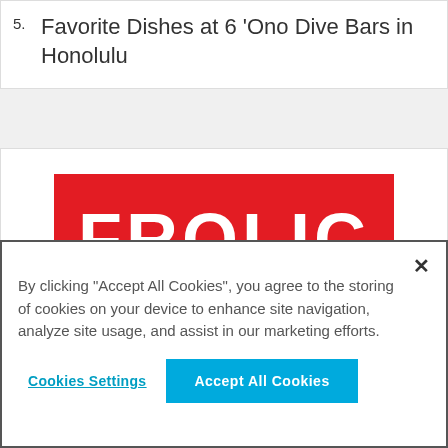5. Favorite Dishes at 6 'Ono Dive Bars in Honolulu
[Figure (logo): FROLIC logo — white bold text on red background]
By clicking "Accept All Cookies", you agree to the storing of cookies on your device to enhance site navigation, analyze site usage, and assist in our marketing efforts.
Cookies Settings | Accept All Cookies